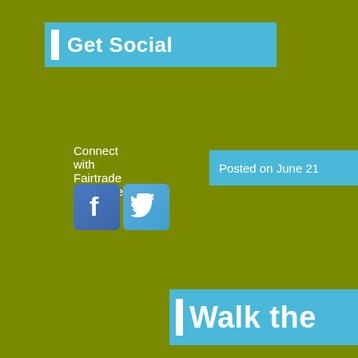Get Social
Connect with Fairtrade Yorkshire:
[Figure (illustration): Facebook and Twitter social media icon buttons]
Posted on June 21
Walk the